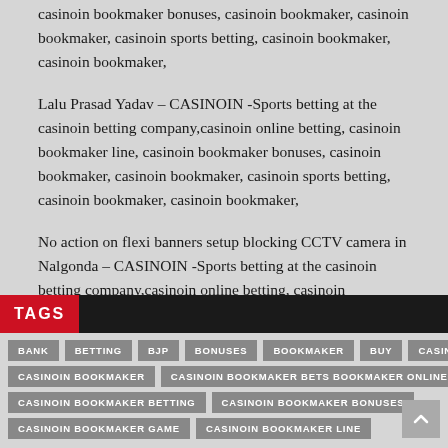casinoin bookmaker bonuses, casinoin bookmaker, casinoin bookmaker, casinoin sports betting, casinoin bookmaker, casinoin bookmaker,
Lalu Prasad Yadav – CASINOIN -Sports betting at the casinoin betting company,casinoin online betting, casinoin bookmaker line, casinoin bookmaker bonuses, casinoin bookmaker, casinoin bookmaker, casinoin sports betting, casinoin bookmaker, casinoin bookmaker,
No action on flexi banners setup blocking CCTV camera in Nalgonda – CASINOIN -Sports betting at the casinoin betting company,casinoin online betting, casinoin bookmaker line, casinoin bookmaker bonuses, casinoin bookmaker, casinoin bookmaker, casinoin sports betting, casinoin bookmaker, casinoin bookmaker,
TAGS
BANK
BETTING
BJP
BONUSES
BOOKMAKER
BUY
CASINOIN
CASINOIN BOOKMAKER
CASINOIN BOOKMAKER BETS BOOKMAKER ONLINE
CASINOIN BOOKMAKER BETTING
CASINOIN BOOKMAKER BONUSES
CASINOIN BOOKMAKER GAME
CASINOIN BOOKMAKER LINE